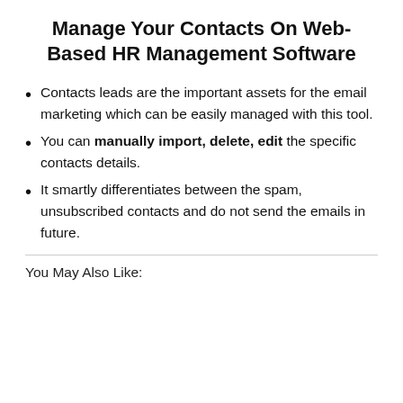Manage Your Contacts On Web-Based HR Management Software
Contacts leads are the important assets for the email marketing which can be easily managed with this tool.
You can manually import, delete, edit the specific contacts details.
It smartly differentiates between the spam, unsubscribed contacts and do not send the emails in future.
You May Also Like: